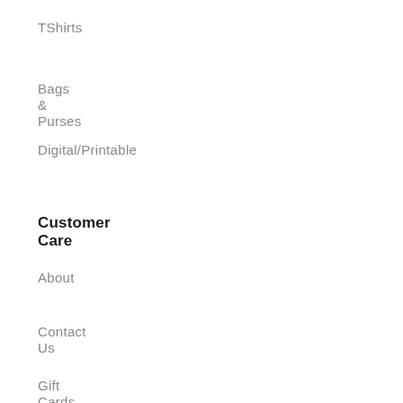TShirts
Bags & Purses
Digital/Printable
Customer Care
About
Contact Us
Gift Cards
Policy